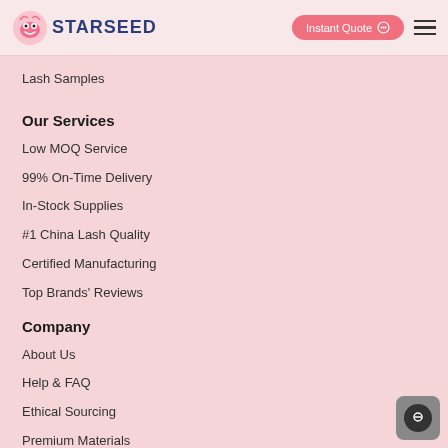STARSEED | Instant Quote | Menu
Lash Samples
Our Services
Low MOQ Service
99% On-Time Delivery
In-Stock Supplies
#1 China Lash Quality
Certified Manufacturing
Top Brands' Reviews
Company
About Us
Help & FAQ
Ethical Sourcing
Premium Materials